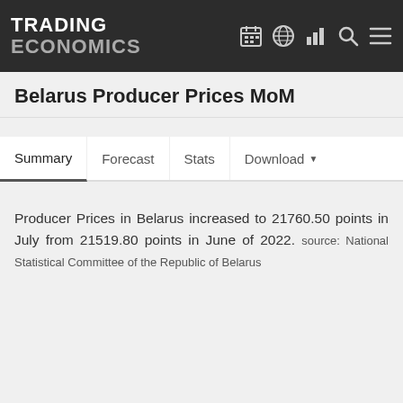TRADING ECONOMICS
Belarus Producer Prices MoM
Summary | Forecast | Stats | Download
Producer Prices in Belarus increased to 21760.50 points in July from 21519.80 points in June of 2022. source: National Statistical Committee of the Republic of Belarus